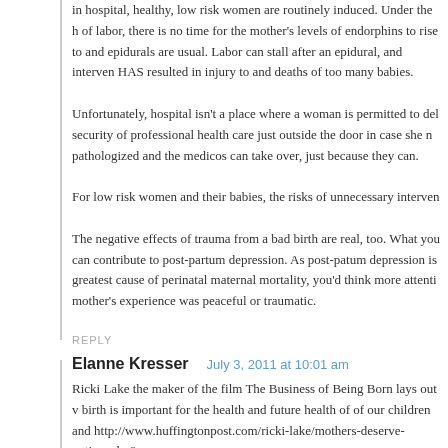in hospital, healthy, low risk women are routinely induced. Under the h of labor, there is no time for the mother's levels of endorphins to rise to and epidurals are usual. Labor can stall after an epidural, and interven HAS resulted in injury to and deaths of too many babies. Unfortunately, hospital isn't a place where a woman is permitted to del security of professional health care just outside the door in case she n pathologized and the medicos can take over, just because they can. For low risk women and their babies, the risks of unnecessary interven The negative effects of trauma from a bad birth are real, too. What yo can contribute to post-partum depression. As post-patum depression is greatest cause of perinatal maternal mortality, you'd think more attenti mother's experience was peaceful or traumatic.
REPLY
Elanne Kresser — July 3, 2011 at 10:01 am
Ricki Lake the maker of the film The Business of Being Born lays out v birth is important for the health and future health of of our children and http://www.huffingtonpost.com/ricki-lake/mothers-deserve-options_b_8 I want a home birth because I want a healthy child. One who didn't rec hormonal and neurological template are set and attuned to mine beca process was allowed unimpeded. A very complex cocktail of hormones